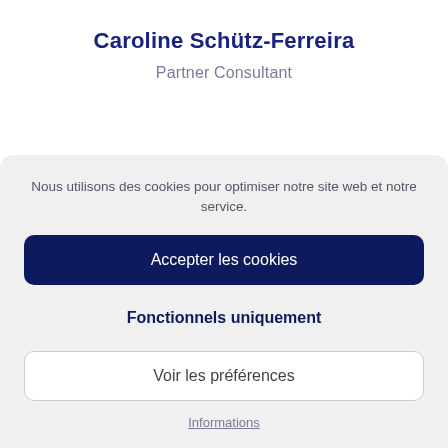Caroline Schütz-Ferreira
Partner Consultant
Nous utilisons des cookies pour optimiser notre site web et notre service.
Accepter les cookies
Fonctionnels uniquement
Voir les préférences
Informations